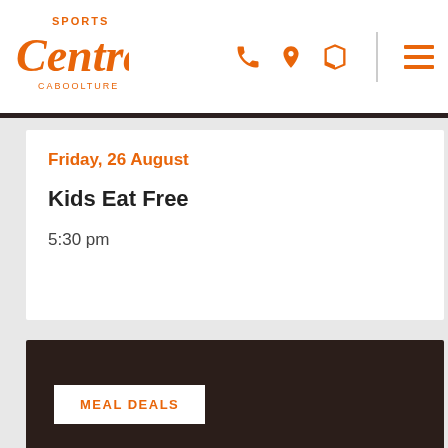Sports Central Caboolture
Friday, 26 August
Kids Eat Free
5:30 pm
[Figure (other): Dark brown promotional section with a MEAL DEALS button]
MEAL DEALS